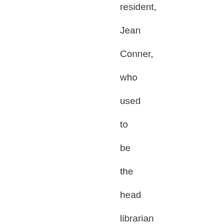resident, Jean Conner, who used to be the head librarian for the state of New York. Jean, I'm proud to say, is a